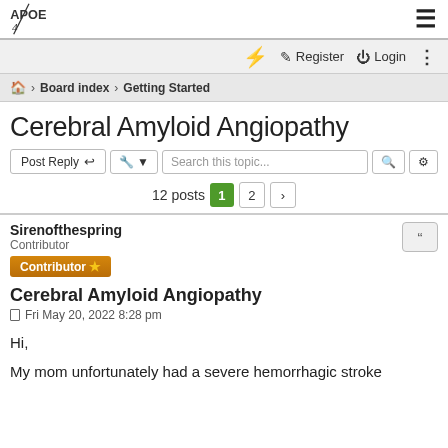APOE4 logo and navigation
⚡ Register Login ⋮
🏠 ‹ Board index ‹ Getting Started
Cerebral Amyloid Angiopathy
Post Reply | 🔧 ▾ | Search this topic... 🔍 ⚙ | 12 posts 1 2 ›
Sirenofthespring
Contributor
Contributor ⭐
Cerebral Amyloid Angiopathy
Fri May 20, 2022 8:28 pm
Hi,
My mom unfortunately had a severe hemorrhagic stroke